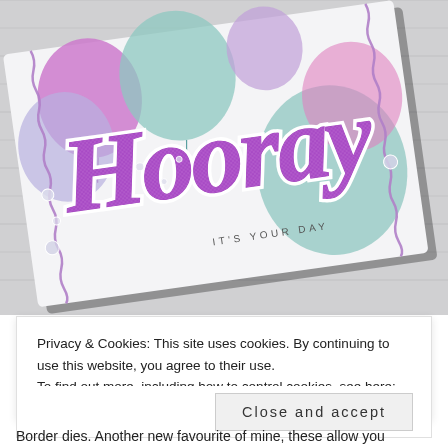[Figure (photo): A handmade greeting card with 'Hooray It's Your Day' text in purple glittery letters, colorful balloons in pink, mint, and lavender, decorative ric-rac border, and pearl/sequin embellishments, shown on a white wood surface.]
Privacy & Cookies: This site uses cookies. By continuing to use this website, you agree to their use.
To find out more, including how to control cookies, see here: Cookie Policy
Close and accept
Border dies. Another new favourite of mine, these allow you